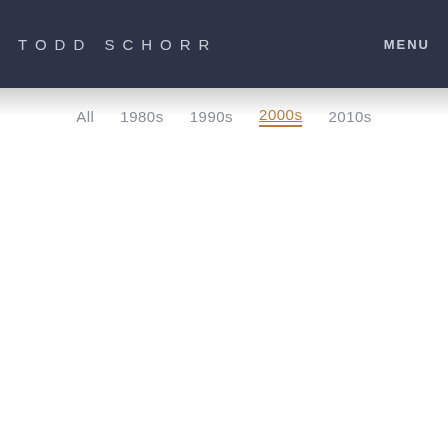TODD SCHORR
MENU
All
1980s
1990s
2000s
2010s